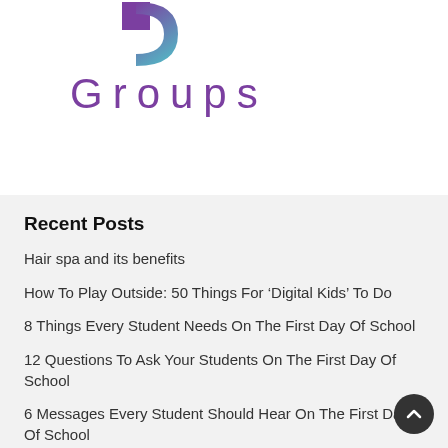[Figure (logo): DP Groups logo with purple and teal gradient D icon and purple 'Groups' text in wide letter-spaced style]
Recent Posts
Hair spa and its benefits
How To Play Outside: 50 Things For ‘Digital Kids’ To Do
8 Things Every Student Needs On The First Day Of School
12 Questions To Ask Your Students On The First Day Of School
6 Messages Every Student Should Hear On The First Day Of School